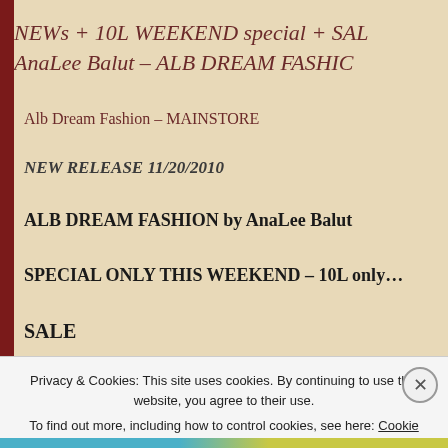NEWs + 10L WEEKEND special + SAL AnaLee Balut – ALB DREAM FASHIC
Alb Dream Fashion – MAINSTORE
NEW RELEASE 11/20/2010
ALB DREAM FASHION by AnaLee Balut
SPECIAL ONLY THIS WEEKEND – 10L only…
SALE
...alb SARA h...   e t
Privacy & Cookies: This site uses cookies. By continuing to use this website, you agree to their use.
To find out more, including how to control cookies, see here: Cookie Policy
Close and accept